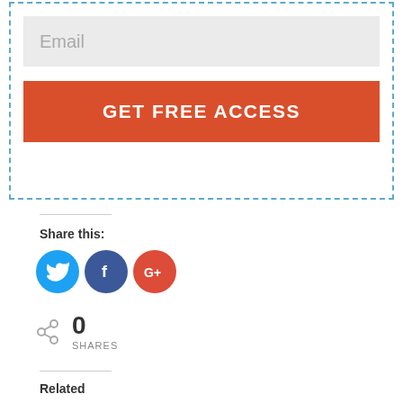[Figure (screenshot): Web form with dashed border containing an email input field (placeholder text 'Email') and an orange 'GET FREE ACCESS' button]
Share this:
[Figure (infographic): Three social sharing icon circles: Twitter (blue bird), Facebook (dark blue f), Google+ (red G+)]
0 SHARES
Related